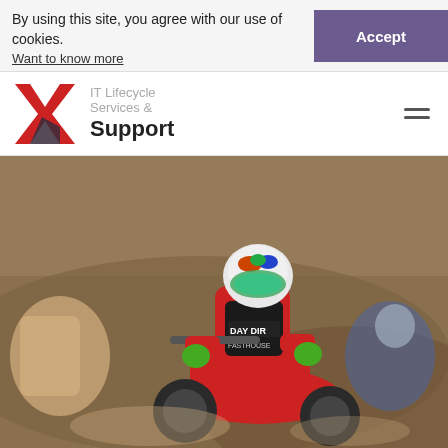By using this site, you agree with our use of cookies. Want to know more
Accept
IT Lifecycle Services & Support
[Figure (photo): Motocross riders racing on a dirt track. The lead rider wears a colorful helmet with green goggles and a red jersey with 'DAY DIR' and 'FASTHOUSE' branding on a black vest, riding a red dirt bike with number 7. Other riders are visible in the background.]